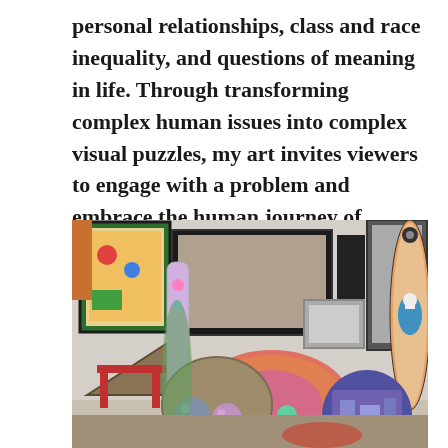personal relationships, class and race inequality, and questions of meaning in life. Through transforming complex human issues into complex visual puzzles, my art invites viewers to engage with a problem and embrace the human journey of eternal solution-searching.
[Figure (photo): A cluttered room filled with colorful artworks including surfboards with skull and eye designs, oval and circular painted objects, a triangular textured cushion, a red table, framed pictures on the wall, a skateboard, spheres, and various other artistic objects piled together.]